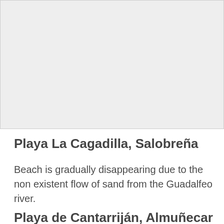[Figure (photo): Light grey placeholder rectangle representing a beach photo]
Playa La Cagadilla, Salobreña
Beach is gradually disappearing due to the non existent flow of sand from the Guadalfeo river.
Playa de Cantarriján, Almuñecar